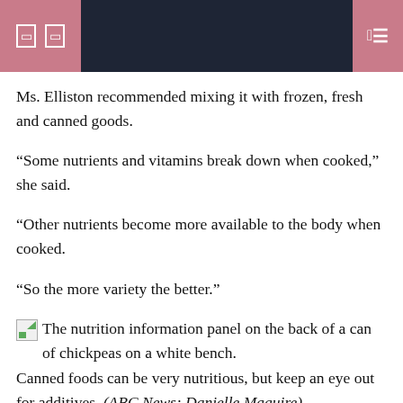Navigation header bar with icons
Ms. Elliston recommended mixing it with frozen, fresh and canned goods.
“Some nutrients and vitamins break down when cooked,” she said.
“Other nutrients become more available to the body when cooked.
“So the more variety the better.”
[Figure (photo): Broken/placeholder image icon representing: The nutrition information panel on the back of a can of chickpeas on a white bench.]
Canned foods can be very nutritious, but keep an eye out for additives. (ABC News: Danielle Maguire)
She gives an example using the humble tomato.